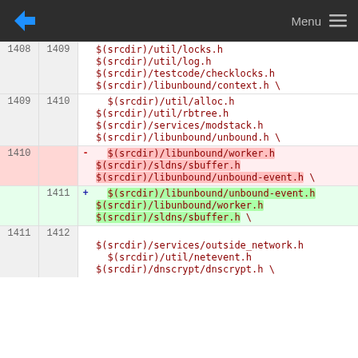Menu
[Figure (screenshot): Code diff showing changes to a Makefile or similar build file. Lines 1408-1412 show source file dependencies being reordered. Lines with prefix '-' (1410) remove $(srcdir)/libunbound/worker.h, $(srcdir)/sldns/sbuffer.h, and $(srcdir)/libunbound/unbound-event.h \. Lines with prefix '+' (1411) add $(srcdir)/libunbound/unbound-event.h, $(srcdir)/libunbound/worker.h, and $(srcdir)/sldns/sbuffer.h \.]